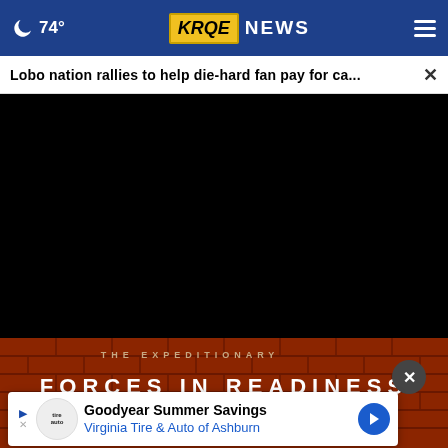🌙 74° KRQE NEWS
Lobo nation rallies to help die-hard fan pay for ca...
[Figure (screenshot): Black video player area with playback controls including play button, mute button, timestamp 00:00, captions button, and fullscreen button. Progress bar at top of controls with white dot indicator.]
[Figure (photo): Brick wall with text 'FORCES IN READINESS' in white/cream letters on dark red brick background]
Goodyear Summer Savings
Virginia Tire & Auto of Ashburn